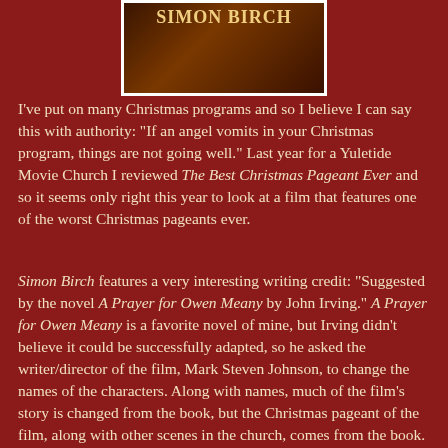[Figure (illustration): Movie poster or title card for Simon Birch with warm autumn tones and white border, showing the title text 'Simon Birch']
I've put on many Christmas programs and so I believe I can say this with authority: "If an angel vomits in your Christmas program, things are not going well." Last year for a Yuletide Movie Church I reviewed The Best Christmas Pageant Ever and so it seems only right this year to look at a film that features one of the worst Christmas pageants ever.
Simon Birch features a very interesting writing credit: "Suggested by the novel A Prayer for Owen Meany by John Irving." A Prayer for Owen Meany is a favorite novel of mine, but Irving didn't believe it could be successfully adapted, so he asked the writer/director of the film, Mark Steven Johnson, to change the names of the characters. Along with names, much of the film's story is changed from the book, but the Christmas pageant of the film, along with other scenes in the church, comes from the book.